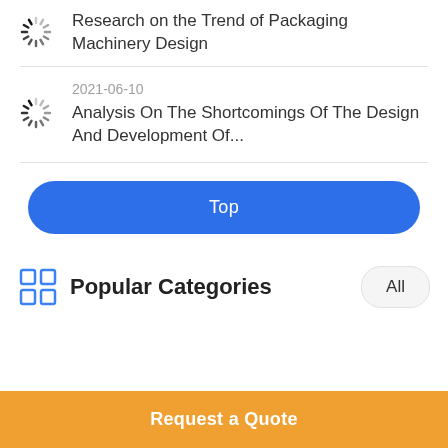Research on the Trend of Packaging Machinery Design
2021-06-10
Analysis On The Shortcomings Of The Design And Development Of...
Top
Popular Categories
Request a Quote